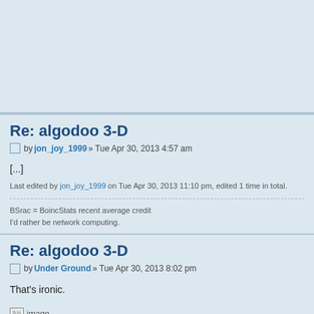Re: algodoo 3-D
by jon_joy_1999 » Tue Apr 30, 2013 4:57 am
[...]
Last edited by jon_joy_1999 on Tue Apr 30, 2013 11:10 pm, edited 1 time in total.
BSrac = BoincStats recent average credit
I'd rather be network computing.
Re: algodoo 3-D
by Under Ground » Tue Apr 30, 2013 8:02 pm
That's ironic.
[Figure (illustration): Broken image placeholder with icon and text 'image']